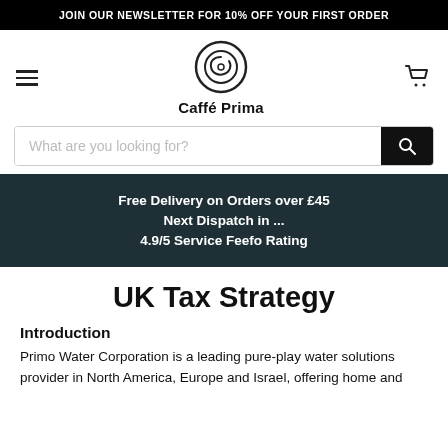JOIN OUR NEWSLETTER FOR 10% OFF YOUR FIRST ORDER
[Figure (logo): Caffé Prima logo with circular swirl icon and brand name]
What are you looking for?
Free Delivery on Orders over £45
Next Dispatch in ...
4.9/5 Service Feefo Rating
UK Tax Strategy
Introduction
Primo Water Corporation is a leading pure-play water solutions provider in North America, Europe and Israel, offering home and